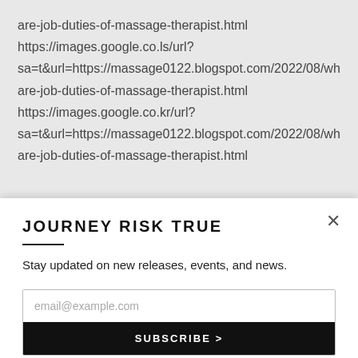are-job-duties-of-massage-therapist.html
https://images.google.co.ls/url?
sa=t&url=https://massage0122.blogspot.com/2022/08/wha
are-job-duties-of-massage-therapist.html
https://images.google.co.kr/url?
sa=t&url=https://massage0122.blogspot.com/2022/08/wha
are-job-duties-of-massage-therapist.html
JOURNEY RISK TRUE
Stay updated on new releases, events, and news.
email@example.com
SUBSCRIBE >